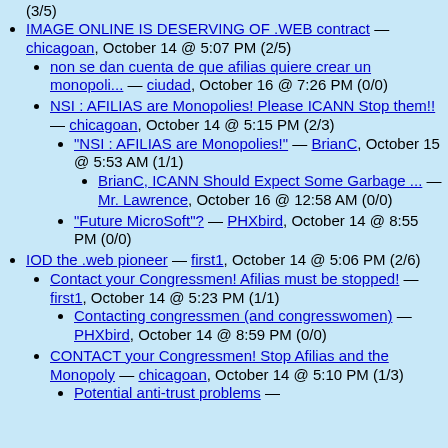(3/5)
IMAGE ONLINE IS DESERVING OF .WEB contract — chicagoan, October 14 @ 5:07 PM (2/5)
non se dan cuenta de que afilias quiere crear un monopoli... — ciudad, October 16 @ 7:26 PM (0/0)
NSI : AFILIAS are Monopolies! Please ICANN Stop them!! — chicagoan, October 14 @ 5:15 PM (2/3)
"NSI : AFILIAS are Monopolies!" — BrianC, October 15 @ 5:53 AM (1/1)
BrianC, ICANN Should Expect Some Garbage ... — Mr. Lawrence, October 16 @ 12:58 AM (0/0)
"Future MicroSoft"? — PHXbird, October 14 @ 8:55 PM (0/0)
IOD the .web pioneer — first1, October 14 @ 5:06 PM (2/6)
Contact your Congressmen! Afilias must be stopped! — first1, October 14 @ 5:23 PM (1/1)
Contacting congressmen (and congresswomen) — PHXbird, October 14 @ 8:59 PM (0/0)
CONTACT your Congressmen! Stop Afilias and the Monopoly — chicagoan, October 14 @ 5:10 PM (1/3)
Potential anti-trust problems —